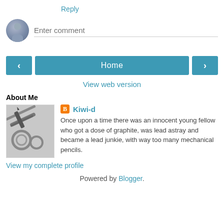Reply
[Figure (illustration): Comment input area with gray avatar icon and 'Enter comment' placeholder text with a bottom border line]
[Figure (other): Navigation row with left arrow button, Home button, and right arrow button — all in teal/blue color]
View web version
About Me
[Figure (photo): Grayscale photo of mechanical pencils and pen nibs/parts on a surface]
Kiwi-d
Once upon a time there was an innocent young fellow who got a dose of graphite, was lead astray and became a lead junkie, with way too many mechanical pencils.
View my complete profile
Powered by Blogger.